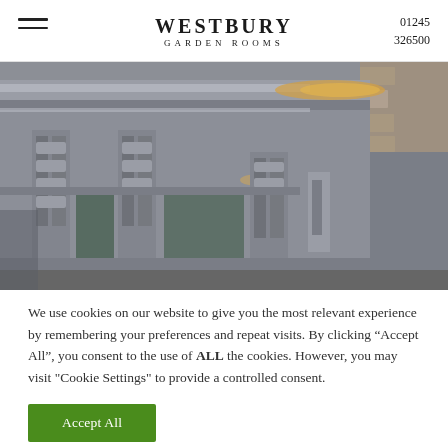WESTBURY GARDEN ROOMS | 01245 326500
[Figure (photo): Close-up architectural photograph of a grey painted garden room cornice and decorative pilaster details with warm accent lighting visible along the roofline, stone wall visible in background]
We use cookies on our website to give you the most relevant experience by remembering your preferences and repeat visits. By clicking “Accept All”, you consent to the use of ALL the cookies. However, you may visit "Cookie Settings" to provide a controlled consent.
Accept All